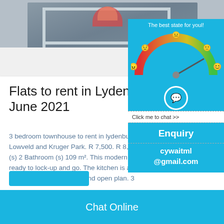[Figure (photo): Photograph of an industrial steel frame structure (winch or reel equipment) on a warehouse floor, partially cropped at top.]
Flats to rent in Lydenburg - June 2021
3 bedroom townhouse to rent in lydenburg Lowveld and Kruger Park. R 7,500. R 8,4... (s) 2 Bathroom (s) 109 m². This modern t... ready to lock-up and go. The kitchen is a dream with center island and open plan. 3...
[Figure (infographic): Sidebar widget showing a gauge/speedometer graphic with emoji faces ranging from angry (red) to happy (green), titled 'The best state for you!' with a chat bubble icon and 'Click me to chat >>' button. Below shows 'Enquiry' and 'cywaitml@gmail.com'.]
Chat Online